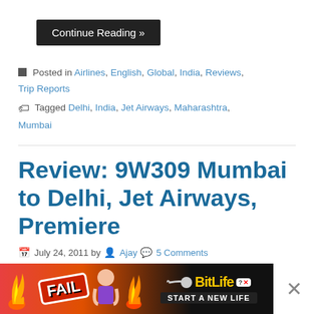Continue Reading »
Posted in Airlines, English, Global, India, Reviews, Trip Reports
Tagged Delhi, India, Jet Airways, Maharashtra, Mumbai
Review: 9W309 Mumbai to Delhi, Jet Airways, Premiere
July 24, 2011 by Ajay 5 Comments
9W309 Jet Airways is one of my regular flights between
[Figure (photo): Photo of in-flight food/drinks on Jet Airways flight]